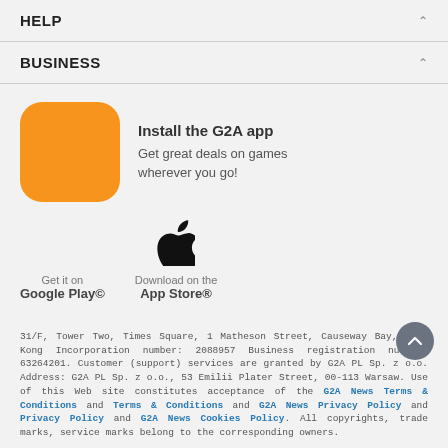HELP
BUSINESS
[Figure (illustration): Orange rounded square app icon for G2A app]
Install the G2A app
Get great deals on games wherever you go!
[Figure (logo): Apple logo (black) for App Store button]
Get it on
Google Play©
Download on the
App Store®
31/F, Tower Two, Times Square, 1 Matheson Street, Causeway Bay, Hong Kong Incorporation number: 2088957 Business registration number: 63264201. Customer (support) services are granted by G2A PL Sp. z o.o. Address: G2A PL Sp. z o.o., 53 Emilii Plater Street, 00-113 Warsaw. Use of this Web site constitutes acceptance of the G2A News Terms & Conditions and Terms & Conditions and G2A News Privacy Policy and Privacy Policy and G2A News Cookies Policy. All copyrights, trade marks, service marks belong to the corresponding owners.